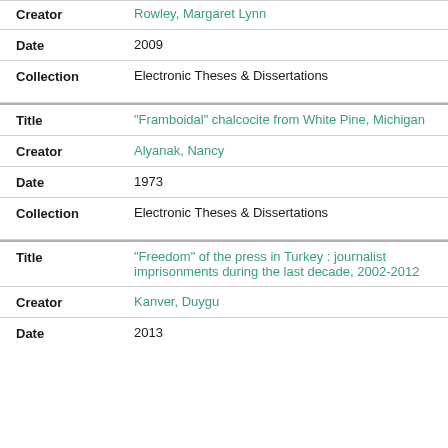| Field | Value |
| --- | --- |
| Creator | Rowley, Margaret Lynn |
| Date | 2009 |
| Collection | Electronic Theses & Dissertations |
| Title | "Framboidal" chalcocite from White Pine, Michigan |
| Creator | Alyanak, Nancy |
| Date | 1973 |
| Collection | Electronic Theses & Dissertations |
| Title | "Freedom" of the press in Turkey : journalist imprisonments during the last decade, 2002-2012 |
| Creator | Kanver, Duygu |
| Date | 2013 |